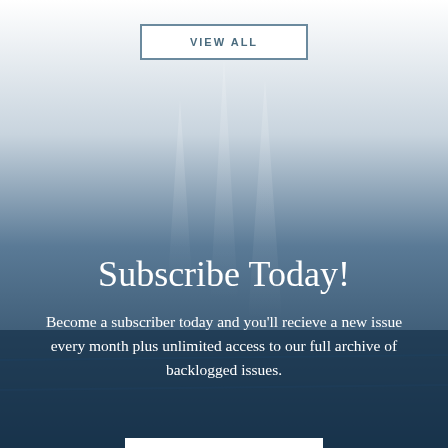[Figure (photo): Nautical/sailing background photo showing a boat/sailboat, with a gradient from white at the top to dark blue-gray at the bottom]
VIEW ALL
Subscribe Today!
Become a subscriber today and you'll recieve a new issue every month plus unlimited access to our full archive of backlogged issues.
SUBSCRIBE